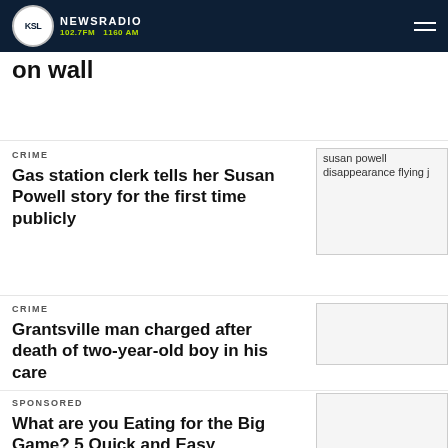KSL NewsRadio 102.7FM 1160AM
on wall
CRIME
Gas station clerk tells her Susan Powell story for the first time publicly
[Figure (photo): Image of susan powell disappearance flying j]
CRIME
Grantsville man charged after death of two-year-old boy in his care
[Figure (photo): Broken image placeholder]
SPONSORED
What are you Eating for the Big Game? 5 Quick and Easy